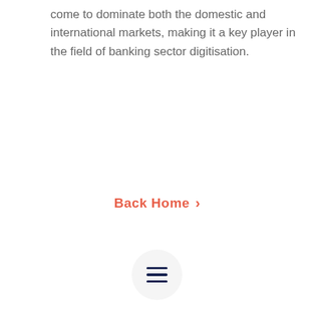come to dominate both the domestic and international markets, making it a key player in the field of banking sector digitisation.
Back Home ›
[Figure (other): Hamburger menu icon — three horizontal dark navy lines inside a circular light grey button]